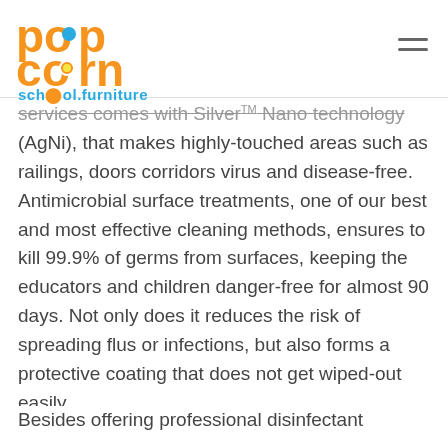Popcorn school.furniture
services comes with Silver Nano technology (AgNi), that makes highly-touched areas such as railings, doors corridors virus and disease-free. Antimicrobial surface treatments, one of our best and most effective cleaning methods, ensures to kill 99.9% of germs from surfaces, keeping the educators and children danger-free for almost 90 days. Not only does it reduces the risk of spreading flus or infections, but also forms a protective coating that does not get wiped-out easily.
Besides offering professional disinfectant...